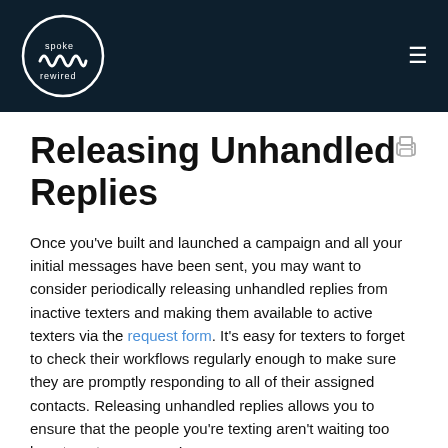spoke rewired [logo] [hamburger menu]
Releasing Unhandled Replies
Once you've built and launched a campaign and all your initial messages have been sent, you may want to consider periodically releasing unhandled replies from inactive texters and making them available to active texters via the request form. It's easy for texters to forget to check their workflows regularly enough to make sure they are promptly responding to all of their assigned contacts. Releasing unhandled replies allows you to ensure that the people you're texting aren't waiting too long to get a response!
Note: Make sure you're familiar with auto-assignment